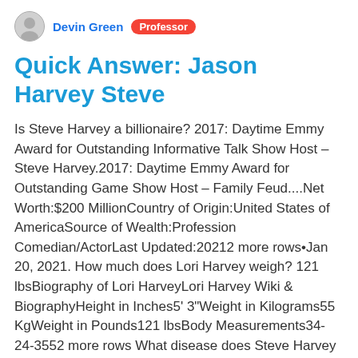Devin Green  Professor
Quick Answer: Jason Harvey Steve
Is Steve Harvey a billionaire? 2017: Daytime Emmy Award for Outstanding Informative Talk Show Host – Steve Harvey.2017: Daytime Emmy Award for Outstanding Game Show Host – Family Feud....Net Worth:$200 MillionCountry of Origin:United States of AmericaSource of Wealth:Profession Comedian/ActorLast Updated:20212 more rows•Jan 20, 2021. How much does Lori Harvey weigh? 121 lbsBiography of Lori HarveyLori Harvey Wiki & BiographyHeight in Inches5' 3"Weight in Kilograms55 KgWeight in Pounds121 lbsBody Measurements34-24-3552 more rows What disease does Steve Harvey have? Harvey began running marathons